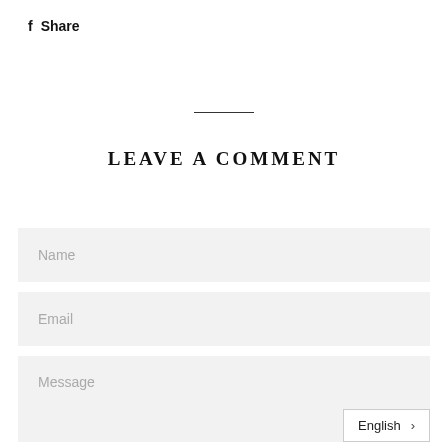f  Share
LEAVE A COMMENT
Name
Email
Message
English >